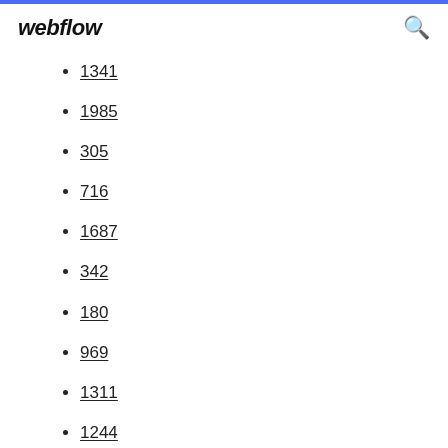webflow
1341
1985
305
716
1687
342
180
969
1311
1244
362
133
1778